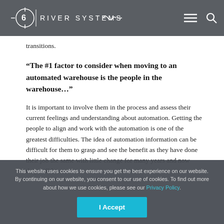6 River Systems
transitions.
“The #1 factor to consider when moving to an automated warehouse is the people in the warehouse…”
It is important to involve them in the process and assess their current feelings and understanding about automation. Getting the people to align and work with the automation is one of the greatest difficulties. The idea of automation information can be difficult for them to grasp and see the benefit as they have done their job the same with little change for many years and now they will be
This website uses cookies to ensure you get the best experience on our website. By continuing on our website, you consent to our use of cookies. To find out more about how we use cookies, please see our Privacy Policy.